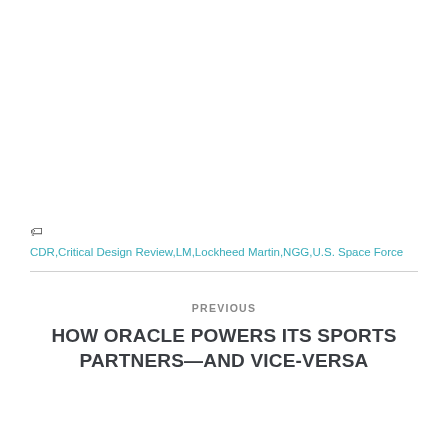🏷 CDR,Critical Design Review,LM,Lockheed Martin,NGG,U.S. Space Force
PREVIOUS
HOW ORACLE POWERS ITS SPORTS PARTNERS—AND VICE-VERSA